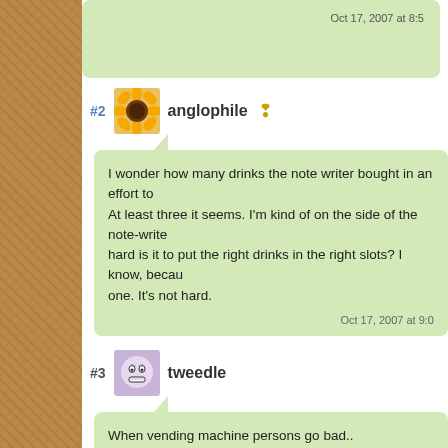Oct 17, 2007 at 8:5…
#2 anglophile ❢
I wonder how many drinks the note writer bought in an effort to... At least three it seems. I'm kind of on the side of the note-writer... hard is it to put the right drinks in the right slots? I know, becau... one. It's not hard.
Oct 17, 2007 at 9:0…
#3 tweedle
When vending machine persons go bad..
Oct 17, 2007 at 9:0…